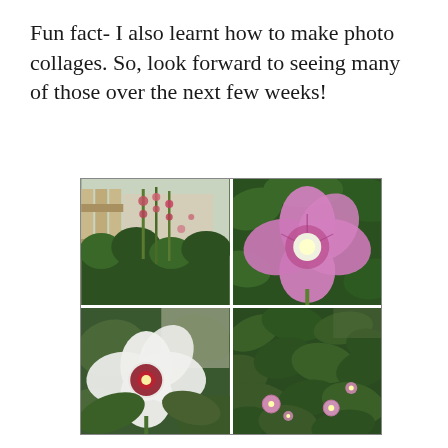Fun fact- I also learnt how to make photo collages. So, look forward to seeing many of those over the next few weeks!
[Figure (photo): A 2x2 photo collage of garden flowers. Top-left: tall hollyhock plants growing against a fence. Top-right: a close-up of a large pink/purple hibiscus flower with dark pink veins and white center. Bottom-left: a white hibiscus flower with dark red/maroon center surrounded by green leaves. Bottom-right: a green shrub with small pink rose-of-sharon flowers.]